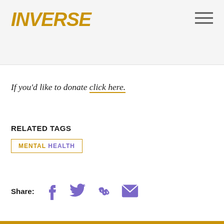INVERSE
If you'd like to donate click here.
RELATED TAGS
MENTAL HEALTH
Share: